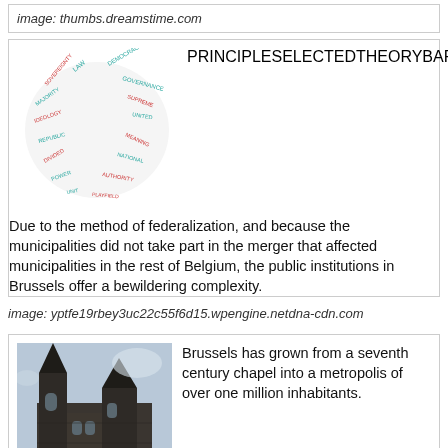image: thumbs.dreamstime.com
[Figure (illustration): Word cloud illustration with 'DUAL FEDERALISM' prominently displayed in red/dark text, surrounded by related political science terms in teal and red colors]
Due to the method of federalization, and because the municipalities did not take part in the merger that affected municipalities in the rest of Belgium, the public institutions in Brussels offer a bewildering complexity.
image: yptfe19rbey3uc22c55f6d15.wpengine.netdna-cdn.com
[Figure (photo): Photo of a gothic cathedral with tall spires against a light sky, dark stone architecture]
Brussels has grown from a seventh century chapel into a metropolis of over one million inhabitants.
image: montgomeryfest.files.wordpress.com